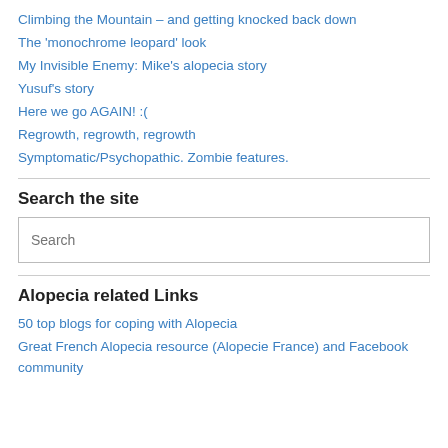Climbing the Mountain – and getting knocked back down
The 'monochrome leopard' look
My Invisible Enemy: Mike's alopecia story
Yusuf's story
Here we go AGAIN! :(
Regrowth, regrowth, regrowth
Symptomatic/Psychopathic. Zombie features.
Search the site
Search
Alopecia related Links
50 top blogs for coping with Alopecia
Great French Alopecia resource (Alopecie France) and Facebook community